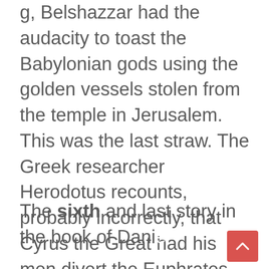g, Belshazzar had the audacity to toast the Babylonian gods using the golden vessels stolen from the temple in Jerusalem. This was the last straw. The Greek researcher Herodotus recounts, probably incorrectly, that Cyrus the Great had his men divert the Euphrates River and wade in the riverbed under the wall. In any case, the people were overconfident and taken by surprise. Overnight, Daniel passed from being the advisor of Belshazzar to that of the King of Persia.
The sixth and last story in the book of Daniel